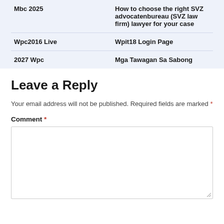| Mbc 2025 | How to choose the right SVZ advocatenbureau (SVZ law firm) lawyer for your case |
| Wpc2016 Live | Wpit18 Login Page |
| 2027 Wpc | Mga Tawagan Sa Sabong |
Leave a Reply
Your email address will not be published. Required fields are marked *
Comment *